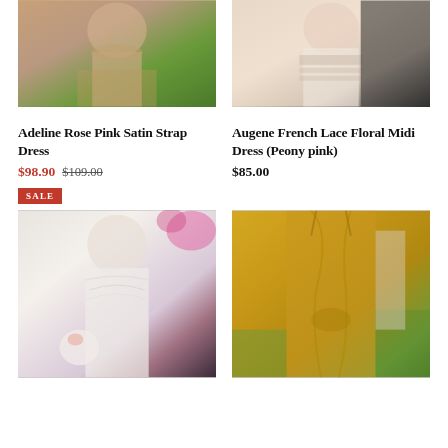[Figure (photo): Rose pink satin strap dress on model outdoors on green grass]
Adeline Rose Pink Satin Strap Dress
$98.90  $109.00
SALE
[Figure (photo): French lace floral midi dress in peony pink on model]
Augene French Lace Floral Midi Dress (Peony pink)
$85.00
[Figure (photo): White lace V-neck dress on model with floral bag outdoors]
[Figure (photo): Gold satin strap dress on model outdoors in garden]